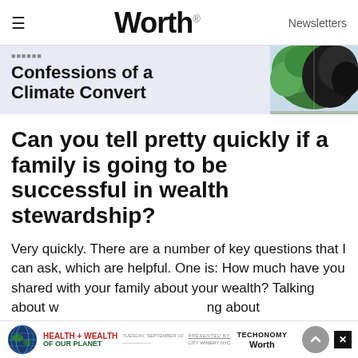≡  Worth  Newsletters
[Figure (screenshot): Promotional banner for 'Confessions of a Climate Convert' article with a half-green half-dark tree image on a light blue background]
Can you tell pretty quickly if a family is going to be successful in wealth stewardship?
Very quickly. There are a number of key questions that I can ask, which are helpful. One is: How much have you shared with your family about your wealth? Talking about w...ng about s...t it, it
[Figure (infographic): Advertisement banner: Health + Wealth of Our Planet event, presented by Techonomy and Worth, Tuesday September [date], City Winery NYC]